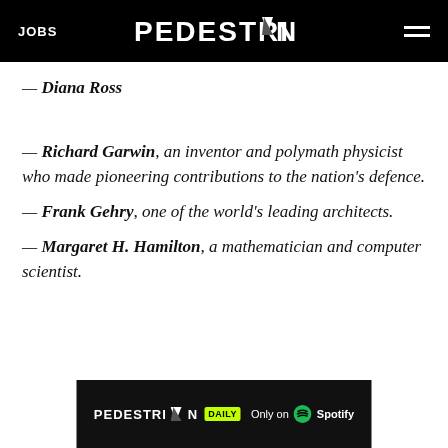JOBS PEDESTRIAN ☰
— Diana Ross
— Richard Garwin, an inventor and polymath physicist who made pioneering contributions to the nation's defence.
— Frank Gehry, one of the world's leading architects.
— Margaret H. Hamilton, a mathematician and computer scientist.
[Figure (logo): PEDESTRIAN DAILY podcast banner - Only on Spotify]